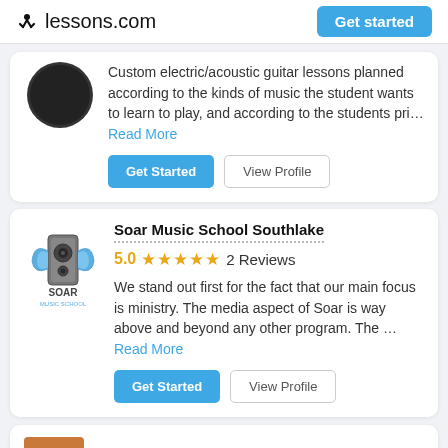lessons.com  Get started
Custom electric/acoustic guitar lessons planned according to the kinds of music the student wants to learn to play, and according to the students pri... Read More
Get Started  View Profile
Soar Music School Southlake
5.0  ★★★★★  2 Reviews
We stand out first for the fact that our main focus is ministry.  The media aspect of Soar is way above and beyond any other program.  The ... Read More
Get Started  View Profile